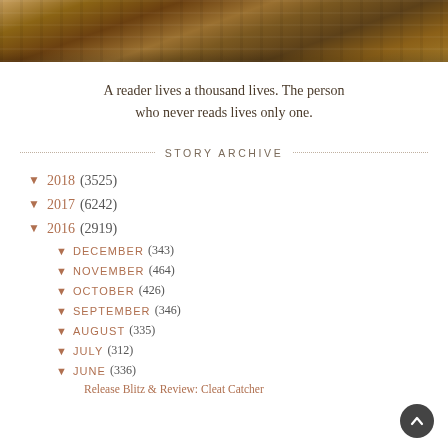[Figure (photo): A sepia/warm-toned outdoor photograph strip showing a rustic scene, partially cropped at top]
A reader lives a thousand lives. The person who never reads lives only one.
STORY ARCHIVE
2018 (3525)
2017 (6242)
2016 (2919)
DECEMBER (343)
NOVEMBER (464)
OCTOBER (426)
SEPTEMBER (346)
AUGUST (335)
JULY (312)
JUNE (336)
Release Blitz & Review: Cleat Catcher